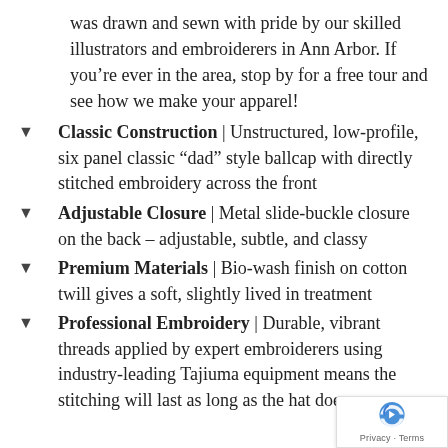was drawn and sewn with pride by our skilled illustrators and embroiderers in Ann Arbor. If you’re ever in the area, stop by for a free tour and see how we make your apparel!
Classic Construction | Unstructured, low-profile, six panel classic “dad” style ballcap with directly stitched embroidery across the front
Adjustable Closure | Metal slide-buckle closure on the back – adjustable, subtle, and classy
Premium Materials | Bio-wash finish on cotton twill gives a soft, slightly lived in treatment
Professional Embroidery | Durable, vibrant threads applied by expert embroiderers using industry-leading Tajiuma equipment means the stitching will last as long as the hat does
[Figure (other): Google reCAPTCHA badge with Privacy and Terms links]